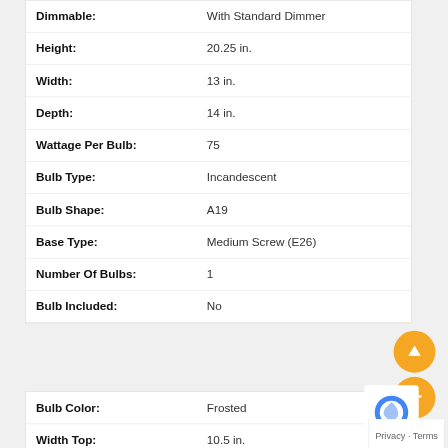| Attribute | Value |
| --- | --- |
| Dimmable: | With Standard Dimmer |
| Height: | 20.25 in. |
| Width: | 13 in. |
| Depth: | 14 in. |
| Wattage Per Bulb: | 75 |
| Bulb Type: | Incandescent |
| Bulb Shape: | A19 |
| Base Type: | Medium Screw (E26) |
| Number Of Bulbs: | 1 |
| Bulb Included: | No |
| Attribute | Value |
| --- | --- |
| Bulb Color: | Frosted |
| Width Top: | 10.5 in. |